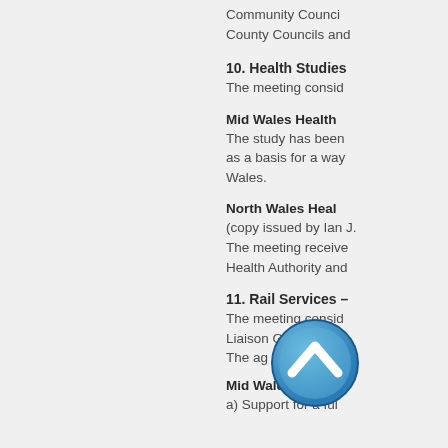Community Councils and County Councils and
10. Health Studies
The meeting consid
Mid Wales Health
The study has been as a basis for a way Wales.
North Wales Heal
(copy issued by Ian J. The meeting receive Health Authority and
11. Rail Services –
The meeting consid Liaison Groups rega The ag of it
Mid Wales
a) Support for a ful